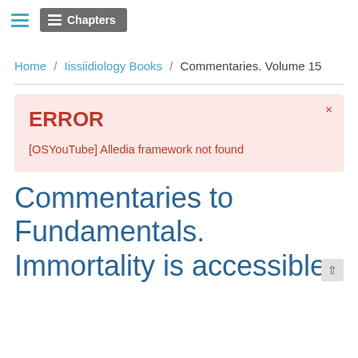≡ Chapters
Home / Iissiidiology Books / Commentaries. Volume 15
ERROR
[OSYouTube] Alledia framework not found
Commentaries to Fundamentals. Immortality is accessible